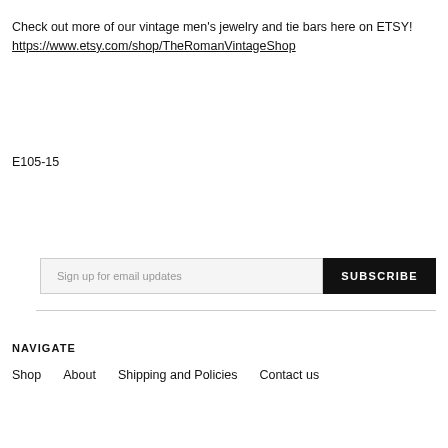Check out more of our vintage men's jewelry and tie bars here on ETSY!
https://www.etsy.com/shop/TheRomanVintageShop
E105-15
Sign up for email updates  SUBSCRIBE
NAVIGATE
Shop   About   Shipping and Policies   Contact us